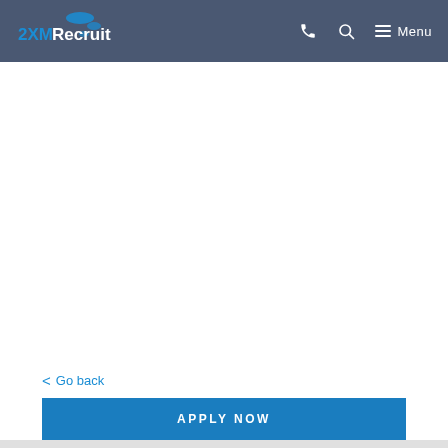2XMRecruit — Menu
< Go back
APPLY NOW